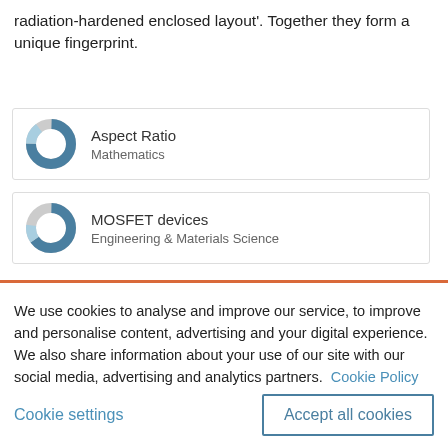radiation-hardened enclosed layout'. Together they form a unique fingerprint.
[Figure (infographic): Donut chart icon with 'Aspect Ratio' title and 'Mathematics' subtitle inside a bordered card]
[Figure (infographic): Donut chart icon with 'MOSFET devices' title and 'Engineering & Materials Science' subtitle inside a bordered card]
We use cookies to analyse and improve our service, to improve and personalise content, advertising and your digital experience. We also share information about your use of our site with our social media, advertising and analytics partners.  Cookie Policy
Cookie settings
Accept all cookies